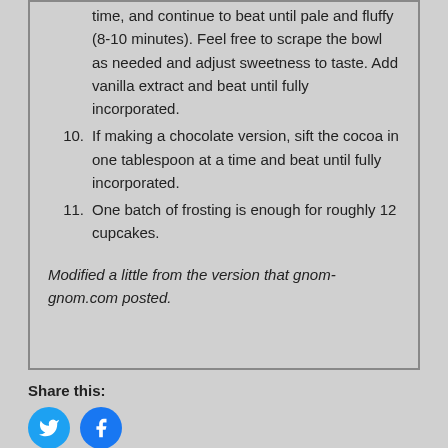time, and continue to beat until pale and fluffy (8-10 minutes). Feel free to scrape the bowl as needed and adjust sweetness to taste. Add vanilla extract and beat until fully incorporated.
10. If making a chocolate version, sift the cocoa in one tablespoon at a time and beat until fully incorporated.
11. One batch of frosting is enough for roughly 12 cupcakes.
Modified a little from the version that gnom-gnom.com posted.
Share this: